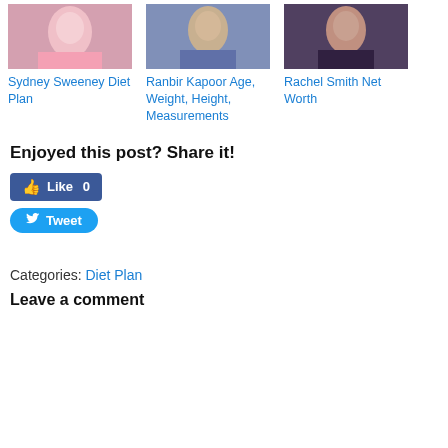[Figure (photo): Photo of Sydney Sweeney in a pink top]
[Figure (photo): Photo of Ranbir Kapoor in a blue jacket]
[Figure (photo): Photo of Rachel Smith with necklace]
Sydney Sweeney Diet Plan
Ranbir Kapoor Age, Weight, Height, Measurements
Rachel Smith Net Worth
Enjoyed this post? Share it!
Like 0
Tweet
Categories: Diet Plan
Leave a comment